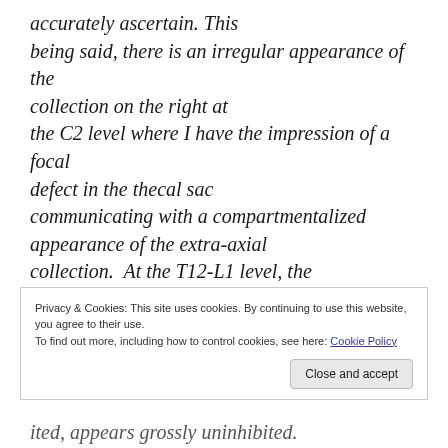accurately ascertain. This being said, there is an irregular appearance of the collection on the right at the C2 level where I have the impression of a focal defect in the thecal sac communicating with a compartmentalized appearance of the extra-axial collection.  At the T12-L1 level, the ventral extradural collection extends towards the foramina bilaterally, left greater than right though I cannot see a definite
Privacy & Cookies: This site uses cookies. By continuing to use this website, you agree to their use.
To find out more, including how to control cookies, see here: Cookie Policy
ited, appears grossly uninhibited.